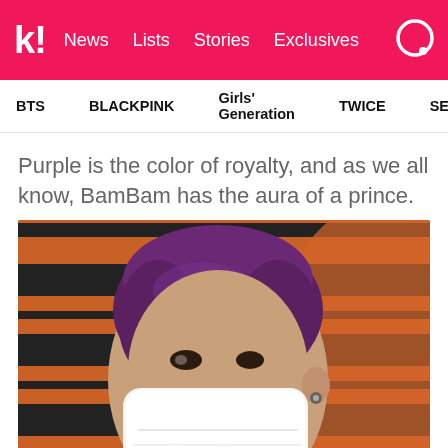k! News Lists Stories Exclusives
BTS  BLACKPINK  Girls' Generation  TWICE  SEVENTEEN
Purple is the color of royalty, and as we all know, BamBam has the aura of a prince.
[Figure (photo): BamBam with purple hair wearing a white face mask, in front of a colorful striped background with orange and black patterns]